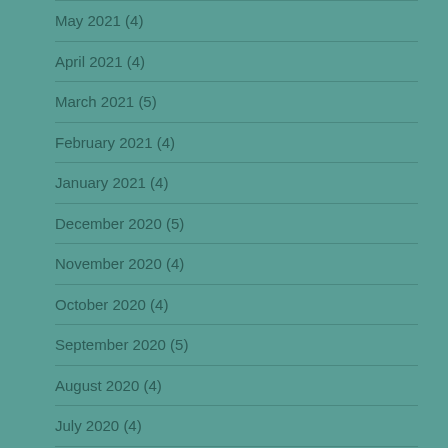May 2021 (4)
April 2021 (4)
March 2021 (5)
February 2021 (4)
January 2021 (4)
December 2020 (5)
November 2020 (4)
October 2020 (4)
September 2020 (5)
August 2020 (4)
July 2020 (4)
June 2020 (5)
May 2020 (4)